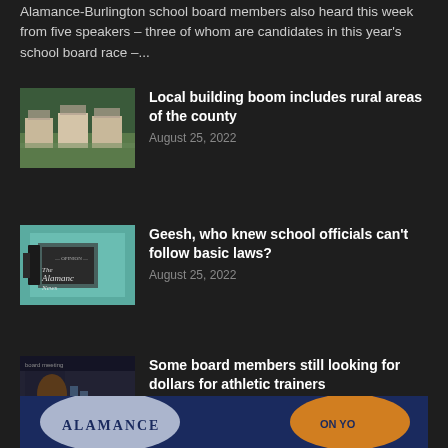Alamance-Burlington school board members also heard this week from five speakers – three of whom are candidates in this year's school board race –...
[Figure (photo): Aerial or ground-level photo of houses under construction in a rural or suburban area]
Local building boom includes rural areas of the county
August 25, 2022
[Figure (photo): Opinion section image with a typewriter and The Alamance News masthead on teal background]
Geesh, who knew school officials can't follow basic laws?
August 25, 2022
[Figure (photo): Photo of a woman in a green dress seated at a table during a school board meeting]
Some board members still looking for dollars for athletic trainers
August 25, 2022
[Figure (logo): Alamance News advertisement banner with logo and orange arc element on blue background, text reading ALAMANCE and ON YOU]